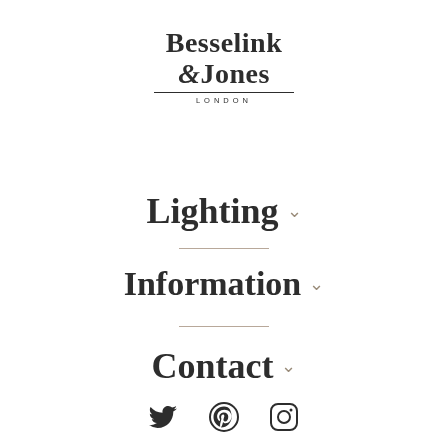[Figure (logo): Besselink & Jones London logo with serif bold text, horizontal underline, and 'LONDON' subtitle in small caps]
Lighting
Information
Contact
[Figure (other): Social media icons: Twitter (bird), Pinterest (P circle), Instagram (camera)]